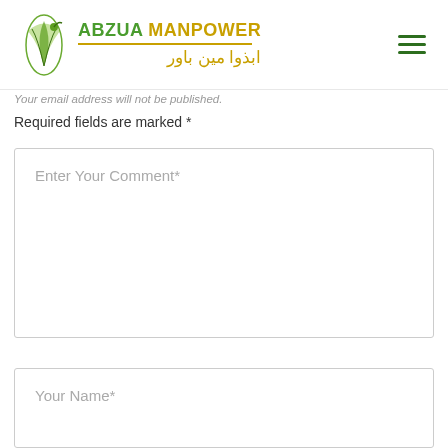ABZUA MANPOWER — ابذوا مین باور
Your email address will not be published.
Required fields are marked *
Enter Your Comment*
Your Name*